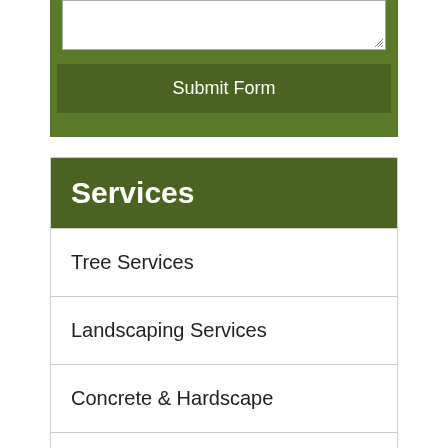[Figure (screenshot): A textarea input box with a resize handle in the bottom-right corner, on a green background]
Submit Form
Services
Tree Services
Landscaping Services
Concrete & Hardscape
Fencing